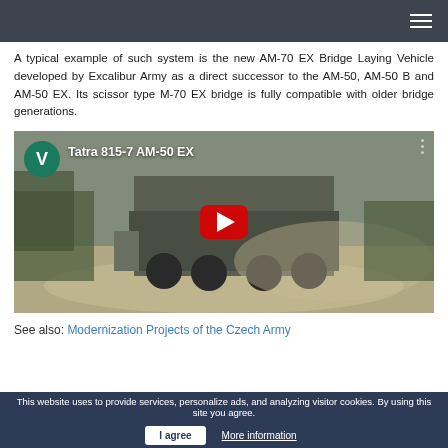A typical example of such system is the new AM-70 EX Bridge Laying Vehicle developed by Excalibur Army as a direct successor to the AM-50, AM-50 B and AM-50 EX. Its scissor type M-70 EX bridge is fully compatible with older bridge generations.
[Figure (screenshot): YouTube video thumbnail showing a military bridge-laying vehicle (Tatra 815-7 AM-50 EX) on a dirt road. Green channel icon with letter V in top-left, video title 'Tatra 815-7 AM-50 EX', red YouTube play button centered, three-dot menu top-right.]
See also: Modernization Projects of the Czech Army
This website uses to provide services, personalize ads, and analyzing visitor cookies. By using this site you agree.